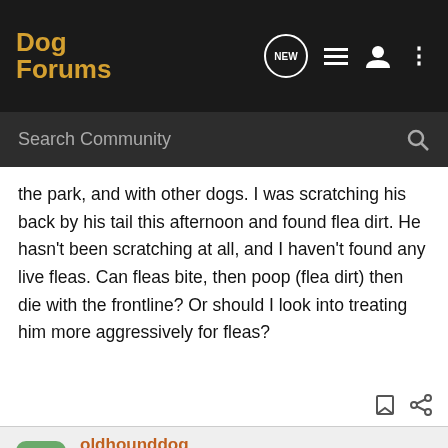Dog Forums
the park, and with other dogs. I was scratching his back by his tail this afternoon and found flea dirt. He hasn't been scratching at all, and I haven't found any live fleas. Can fleas bite, then poop (flea dirt) then die with the frontline? Or should I look into treating him more aggressively for fleas?
oldhounddog · Registered
Joined May 31, 2010 · 583 Posts
#2 · Jul 17, 2012
Make sure the Frontline+ is large enough dose for your dog, If boderline go up to next size.